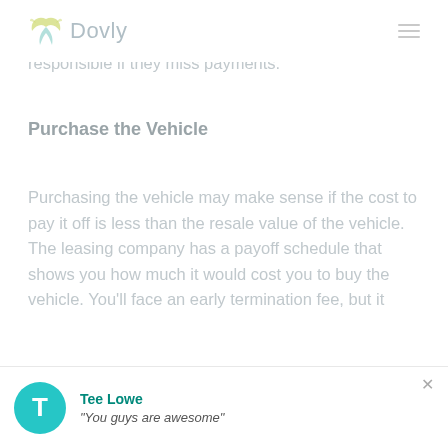Dovly
whether the buyer takes full financial liability once the lease is transferred and whether you are still responsible if they miss payments.
Purchase the Vehicle
Purchasing the vehicle may make sense if the cost to pay it off is less than the resale value of the vehicle. The leasing company has a payoff schedule that shows you how much it would cost you to buy the vehicle. You'll face an early termination fee, but it
Tee Lowe — "You guys are awesome"